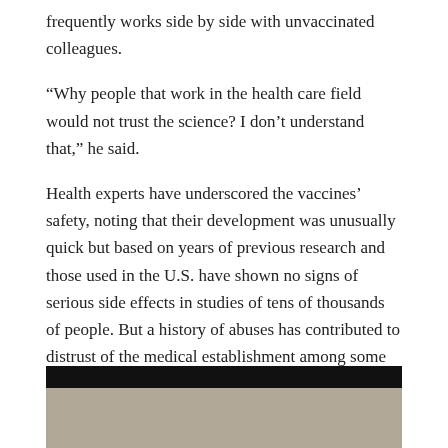frequently works side by side with unvaccinated colleagues.
“Why people that work in the health care field would not trust the science? I don’t understand that,” he said.
Health experts have underscored the vaccines’ safety, noting that their development was unusually quick but based on years of previous research and those used in the U.S. have shown no signs of serious side effects in studies of tens of thousands of people. But a history of abuses has contributed to distrust of the medical establishment among some Black Americans.
[Figure (photo): A partially visible photograph showing what appears to be an indoor scene, with a dark top portion and lighter content below.]